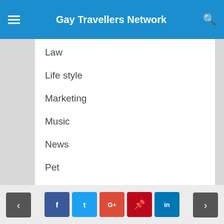Gay Travellers Network
Law
Life style
Marketing
Music
News
Pet
Photography
Printing
Real Estate
SEO
Shopping
Skincare
< f t G+ p in >